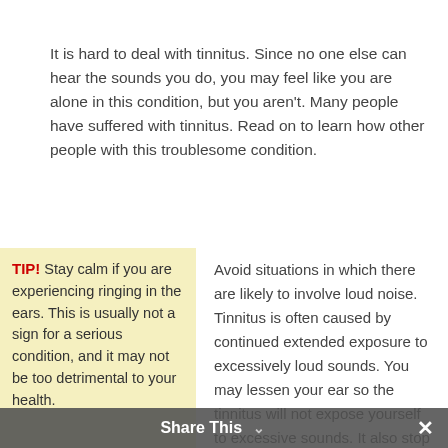It is hard to deal with tinnitus. Since no one else can hear the sounds you do, you may feel like you are alone in this condition, but you aren't. Many people have suffered with tinnitus. Read on to learn how other people with this troublesome condition.
TIP! Stay calm if you are experiencing ringing in the ears. This is usually not a sign for a serious condition, and it may not be too detrimental to your health.
Avoid situations in which there are likely to involve loud noise. Tinnitus is often caused by continued extended exposure to excessively loud sounds. You may lessen your ear so the tinnitus will not expose yourself to excessive sounds. It also stop an occurrence of your
Share This